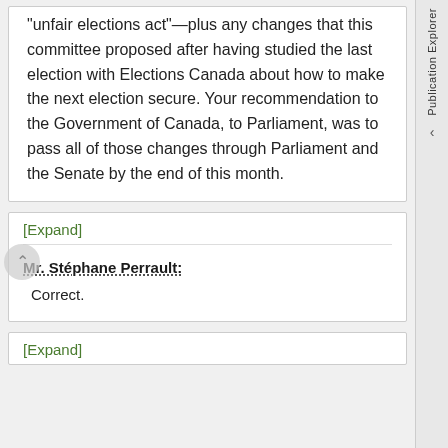“unfair elections act”—plus any changes that this committee proposed after having studied the last election with Elections Canada about how to make the next election secure. Your recommendation to the Government of Canada, to Parliament, was to pass all of those changes through Parliament and the Senate by the end of this month.
[Expand]
Mr. Stéphane Perrault:
Correct.
[Expand]